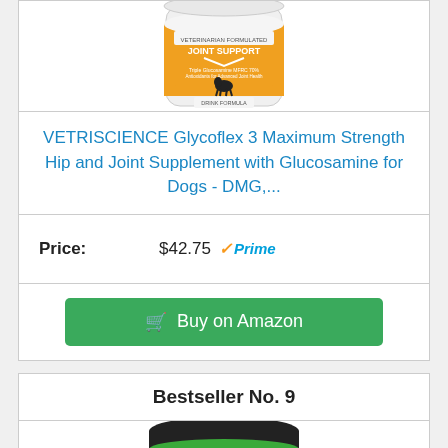[Figure (photo): Partial top view of a VetriScience Glycoflex 3 joint supplement canister with orange label showing a dog silhouette]
VETRISCIENCE Glycoflex 3 Maximum Strength Hip and Joint Supplement with Glucosamine for Dogs - DMG,...
Price: $42.75 ✓Prime
Buy on Amazon
Bestseller No. 9
[Figure (photo): Partial view of PetHonesty HempMobility Senior Hip + Joint Support supplement container with dark lid and green label]